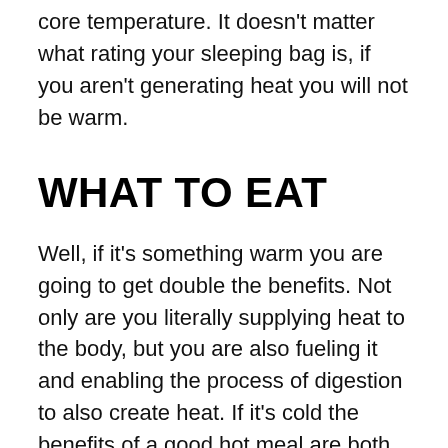core temperature. It doesn't matter what rating your sleeping bag is, if you aren't generating heat you will not be warm.
WHAT TO EAT
Well, if it's something warm you are going to get double the benefits. Not only are you literally supplying heat to the body, but you are also fueling it and enabling the process of digestion to also create heat. If it's cold the benefits of a good hot meal are both moral and physical. That's why